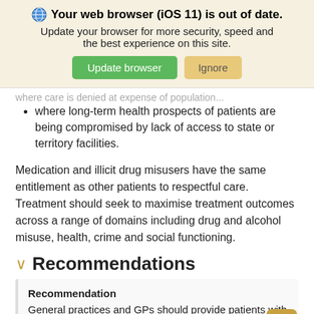[Figure (screenshot): Browser update banner with globe icon, bold title 'Your web browser (iOS 11) is out of date.', subtitle text, and two buttons: 'Update browser' (green) and 'Ignore' (tan/yellow).]
where care is denied at expense of population
where long-term health prospects of patients are being compromised by lack of access to state or territory facilities.
Medication and illicit drug misusers have the same entitlement as other patients to respectful care. Treatment should seek to maximise treatment outcomes across a range of domains including drug and alcohol misuse, health, crime and social functioning.
Recommendations
Recommendation
General practices and GPs should provide patients with information (at the appropriate level and manner) about